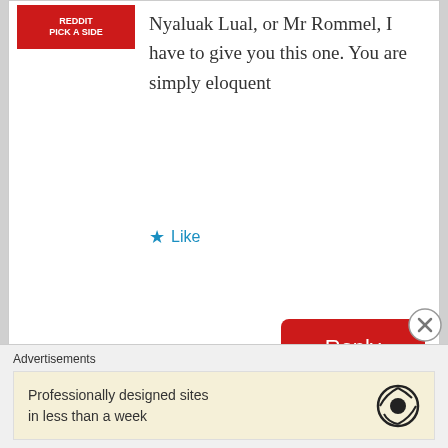[Figure (screenshot): Red banner image with text 'PICK A SIDE' at top left of first comment]
Nyaluak Lual, or Mr Rommel, I have to give you this one. You are simply eloquent
★ Like
Reply
[Figure (illustration): Cartoon ant character illustration used as user avatar]
Kai Doang
April 3, 2015 at 1:15 pm
You hit the Nail Nyaluak Lual even though I haven't read your all post due to the lack of time, by the way, Why
Advertisements
Professionally designed sites in less than a week